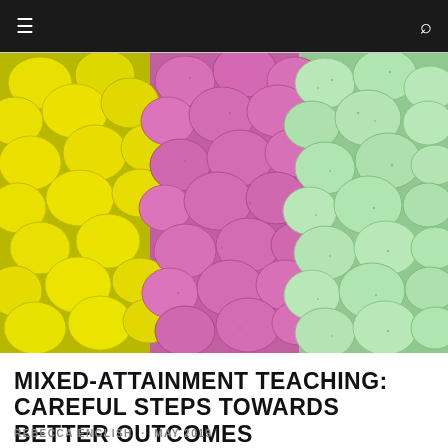☰  🔍
[Figure (photo): Three sections of colorful candy-coated chocolate eggs arranged side by side: yellow eggs on the left, pink/purple eggs in the center, and light green eggs on the right.]
MIXED-ATTAINMENT TEACHING: CAREFUL STEPS TOWARDS BETTER OUTCOMES
REBECCA ENGLISH · MAY 2019